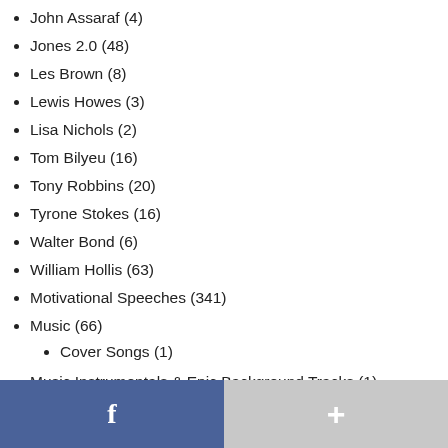John Assaraf (4)
Jones 2.0 (48)
Les Brown (8)
Lewis Howes (3)
Lisa Nichols (2)
Tom Bilyeu (16)
Tony Robbins (20)
Tyrone Stokes (16)
Walter Bond (6)
William Hollis (63)
Motivational Speeches (341)
Music (66)
Cover Songs (1)
Music Instrumentals & Epic Background Tracks (1)
Networking (1)
Never Give Up (51)
Nutrition & Diet (10)
Online Business (13)
Opinion (4)
[Figure (other): Footer bar with Facebook button (blue) and plus button (gray)]